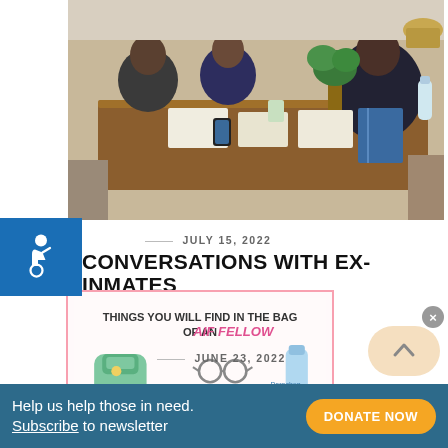[Figure (photo): People sitting around a wooden table, reading or writing documents, with plants in the background.]
JULY 15, 2022
CONVERSATIONS WITH EX-INMATES
[Figure (illustration): Illustrated poster titled 'Things you will find in the bag of an AIF Fellow' showing items like a backpack, laptop, books, sunglasses, snacks, and other items with handwritten labels.]
JUNE 23, 2022
Help us help those in need. Subscribe to newsletter
DONATE NOW